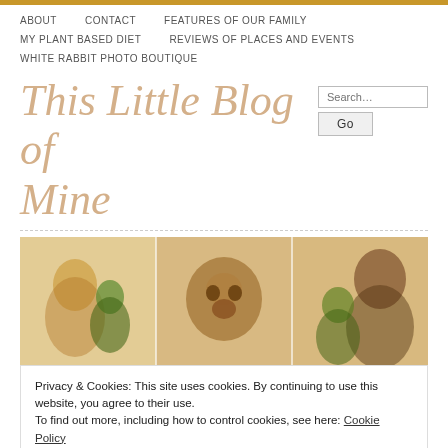ABOUT   CONTACT   FEATURES OF OUR FAMILY   MY PLANT BASED DIET   REVIEWS OF PLACES AND EVENTS   WHITE RABBIT PHOTO BOUTIQUE
This Little Blog of Mine
[Figure (photo): A horizontal banner image with three sections: a woman holding a child in a green shirt, a close-up of a brown bear or animal face, a crowd scene at what appears to be an outdoor event, and a man interacting with a young child]
Privacy & Cookies: This site uses cookies. By continuing to use this website, you agree to their use.
To find out more, including how to control cookies, see here: Cookie Policy
Close and accept
TAG ARCHIVES: WEDDING